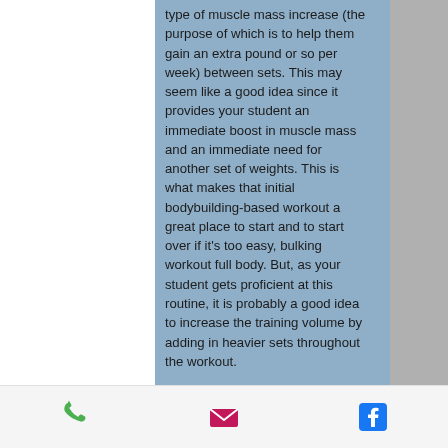type of muscle mass increase (the purpose of which is to help them gain an extra pound or so per week) between sets. This may seem like a good idea since it provides your student an immediate boost in muscle mass and an immediate need for another set of weights. This is what makes that initial bodybuilding-based workout a great place to start and to start over if it's too easy, bulking workout full body. But, as your student gets proficient at this routine, it is probably a good idea to increase the training volume by adding in heavier sets throughout the workout.
If you need help during your cutting cycle, the CrazyBulk Cutting Stack will give you all